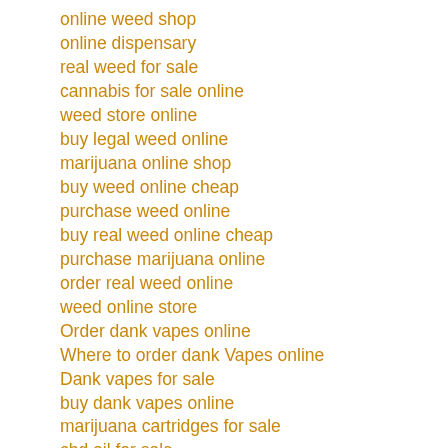online weed shop
online dispensary
real weed for sale
cannabis for sale online
weed store online
buy legal weed online
marijuana online shop
buy weed online cheap
purchase weed online
buy real weed online cheap
purchase marijuana online
order real weed online
weed online store
Order dank vapes online
Where to order dank Vapes online
Dank vapes for sale
buy dank vapes online
marijuana cartridges for sale
cbd oil for sale
order cbd oil online
buy cbd oil online
Dankwoods for sale